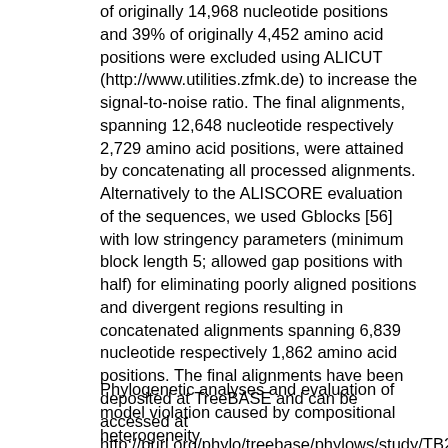of originally 14,968 nucleotide positions and 39% of originally 4,452 amino acid positions were excluded using ALICUT (http://www.utilities.zfmk.de) to increase the signal-to-noise ratio. The final alignments, spanning 12,648 nucleotide respectively 2,729 amino acid positions, were attained by concatenating all processed alignments. Alternatively to the ALISCORE evaluation of the sequences, we used Gblocks [56] with low stringency parameters (minimum block length 5; allowed gap positions with half) for eliminating poorly aligned positions and divergent regions resulting in concatenated alignments spanning 6,839 nucleotide respectively 1,862 amino acid positions. The final alignments have been deposited at TreeBASE and can be accessed at http://purl.org/phylo/treebase/phylows/study/TB2:S10996. Alignments with reduced taxa sets were obtained by removing taxa from the complete alignments. Unless otherwise noted, the alignments edited with ALISCORE were used.
Phylogenetic analyses and evaluation of model violation caused by compositional heterogeneity